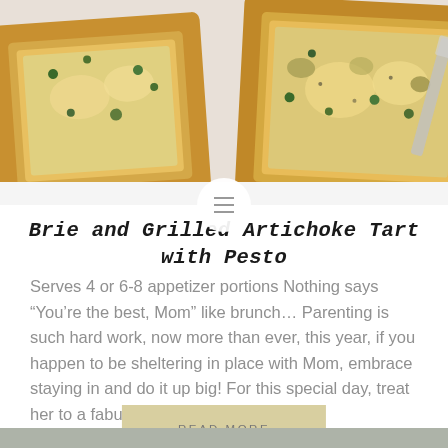[Figure (photo): Overhead photo of golden brie and grilled artichoke tarts with pesto on a marble surface, showing flaky pastry squares with melted cheese and herb toppings]
Brie and Grilled Artichoke Tart with Pesto
Serves 4 or 6-8 appetizer portions Nothing says “You’re the best, Mom” like brunch… Parenting is such hard work, now more than ever, this year, if you happen to be sheltering in place with Mom, embrace staying in and do it up big! For this special day, treat her to a fabulous brunch spread or…
READ MORE